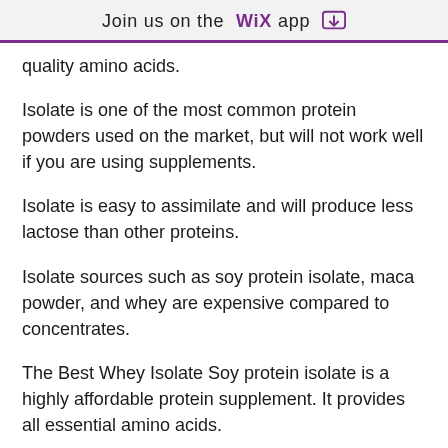Join us on the WiX app
quality amino acids.
Isolate is one of the most common protein powders used on the market, but will not work well if you are using supplements.
Isolate is easy to assimilate and will produce less lactose than other proteins.
Isolate sources such as soy protein isolate, maca powder, and whey are expensive compared to concentrates.
The Best Whey Isolate Soy protein isolate is a highly affordable protein supplement. It provides all essential amino acids.
It also includes probiotics and other beneficial bacteria and is low in sodium.